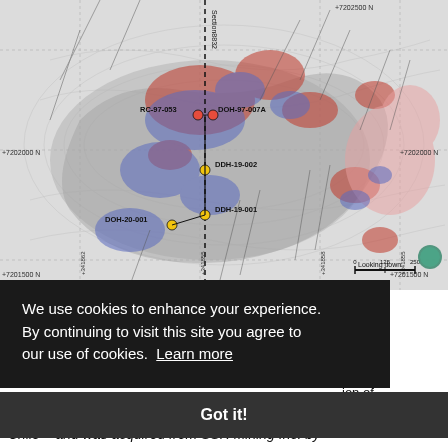[Figure (map): Geological plan map showing drill hole locations (RC-97-053, DOH-97-007A, DOH-19-002, DOH-19-001, DOH-20-001) with coordinate grid (UTM Northing +7202000N, +7201500N) and colored geochemical anomaly zones (red/blue/grey). Section 8832 line shown as dashed vertical. Scale bar and 'Looking down' orientation indicator shown at bottom right.]
We use cookies to enhance your experience. By continuing to visit this site you agree to our use of cookies. Learn more
Got it!
in the ion of rthern
Chile - and was acquired from SSR Mining Inc. by